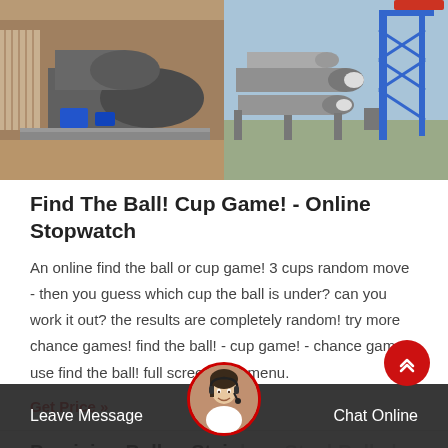[Figure (photo): Two industrial photos side by side: left shows large ball mill cylinders in a facility, right shows multiple ball mills on a construction/mining site with blue crane]
Find The Ball! Cup Game! - Online Stopwatch
An online find the ball or cup game! 3 cups random move - then you guess which cup the ball is under? can you work it out? the results are completely random! try more chance games! find the ball! - cup game! - chance games. use find the ball! full screen. site menu.
Get Price »
Precision Balls - Stainless Steel Balls | Abbott Ball Company